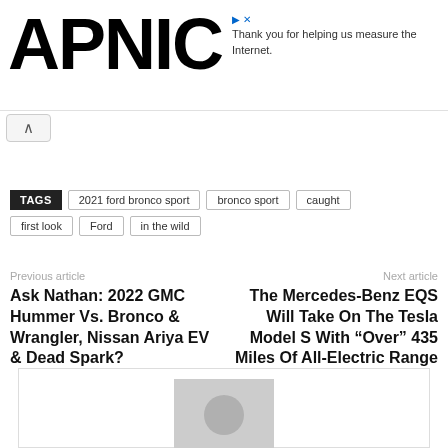APNIC
Thank you for helping us measure the Internet.
TAGS  2021 ford bronco sport  bronco sport  caught  first look  Ford  in the wild
Previous article
Ask Nathan: 2022 GMC Hummer Vs. Bronco & Wrangler, Nissan Ariya EV & Dead Spark?
Next article
The Mercedes-Benz EQS Will Take On The Tesla Model S With “Over” 435 Miles Of All-Electric Range
[Figure (photo): Author placeholder avatar — grey silhouette of a person on grey background]